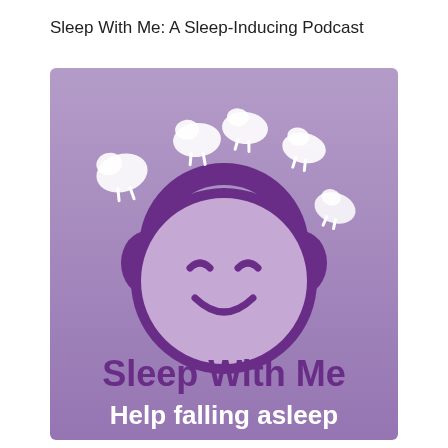Sleep With Me: A Sleep-Inducing Podcast
[Figure (logo): Sleep With Me podcast logo: purple gradient square background with a smiley face wearing headphones and white sheep floating above, text reads 'Sleep With Me' and 'Help falling asleep']